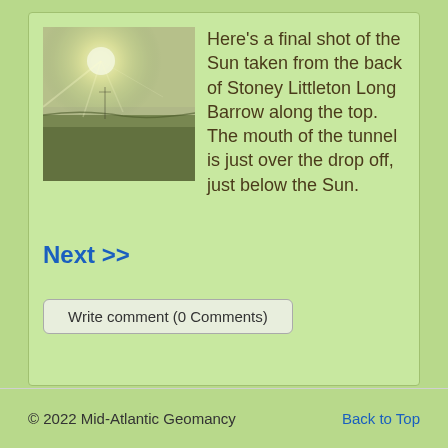[Figure (photo): Landscape photo showing the Sun shining brightly from behind a hill or ridge, viewed from the back of Stoney Littleton Long Barrow, with fields below under a hazy sky.]
Here's a final shot of the Sun taken from the back of Stoney Littleton Long Barrow along the top. The mouth of the tunnel is just over the drop off, just below the Sun.
Next >>
Write comment (0 Comments)
© 2022 Mid-Atlantic Geomancy    Back to Top